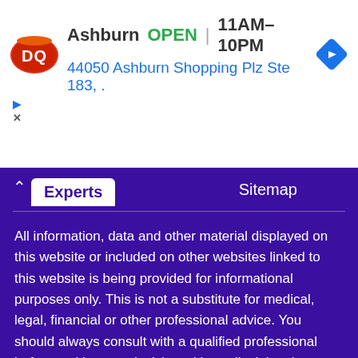[Figure (screenshot): Dairy Queen (DQ) ad banner showing Ashburn location, OPEN status, hours 11AM–10PM, address 44050 Ashburn Shopping Plz Ste 183, and a navigation arrow icon]
Experts    Sitemap
All information, data and other material displayed on this website or included on other websites linked to this website is being provided for informational purposes only. This is not a substitute for medical, legal, financial or other professional advice. You should always consult with a qualified professional before making any decision with medical, legal or financial consequences. You should never disregard qualified professional advice based on information found on our website. We explicitly disclaim liability in connection with your use of this information.
© 2022 Elder Guide LLC. All rights reserved.